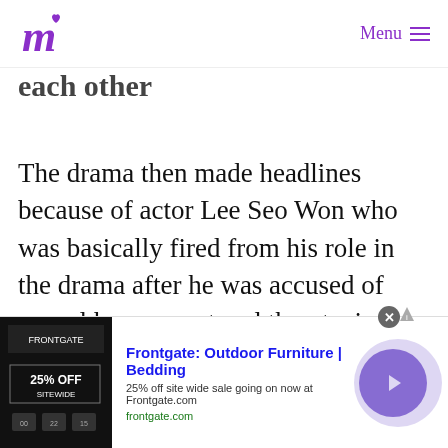Menu
each other
The drama then made headlines because of actor Lee Seo Won who was basically fired from his role in the drama after he was accused of sexual harassment and threatening with a weapon. He was replaced by idol-actor Kim Dong Joon
[Figure (infographic): Advertisement banner for Frontgate: Outdoor Furniture | Bedding. '25% off site wide sale going on now at Frontgate.com'. frontgate.com. Shows a thumbnail image with '25% OFF SITEWIDE' text. Has a purple arrow button and a close button.]